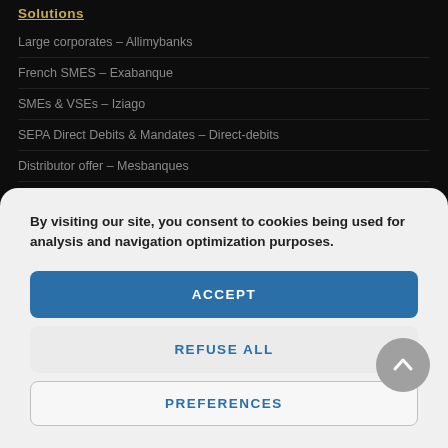Solutions
Large corporates – Allimybanks
French SMES – Exabanque
SMEs & VSEs – Iziago
SEPA Direct Debits & Mandates – Direct-debits
Distributor offer – Mesbanques
By visiting our site, you consent to cookies being used for analysis and navigation optimization purposes.
ACCEPT
REFUSE ALL
PREFERENCES